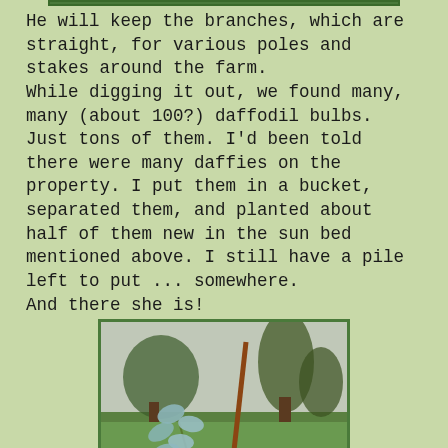He will keep the branches, which are straight, for various poles and stakes around the farm. While digging it out, we found many, many (about 100?) daffodil bulbs. Just tons of them. I'd been told there were many daffies on the property. I put them in a bucket, separated them, and planted about half of them new in the sun bed mentioned above. I still have a pile left to put ... somewhere. And there she is!
[Figure (photo): A young plant or small tree with blue-green leaves staked with a brown cane, surrounded by green lawn, with trees visible in the background.]